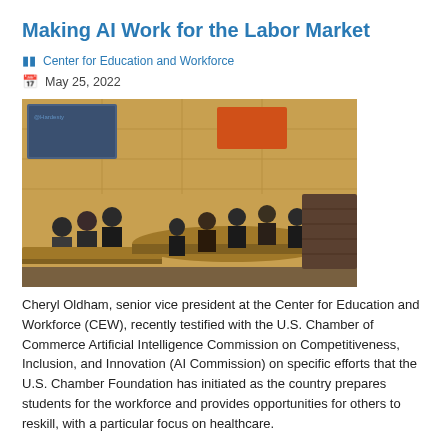Making AI Work for the Labor Market
Center for Education and Workforce
May 25, 2022
[Figure (photo): Panel discussion at a conference room with participants seated at a curved wooden table; presentation screen visible in background.]
Cheryl Oldham, senior vice president at the Center for Education and Workforce (CEW), recently testified with the U.S. Chamber of Commerce Artificial Intelligence Commission on Competitiveness, Inclusion, and Innovation (AI Commission) on specific efforts that the U.S. Chamber Foundation has initiated as the country prepares students for the workforce and provides opportunities for others to reskill, with a particular focus on healthcare.